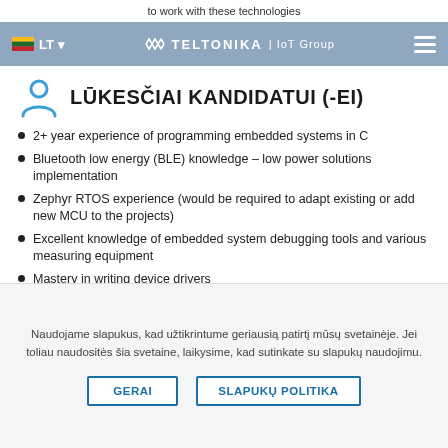to work with these technologies
LT | TELTONIKA | IoT Group
LŪKESČIAI KANDIDATUI (-EI)
2+ year experience of programming embedded systems in C
Bluetooth low energy (BLE) knowledge – low power solutions implementation
Zephyr RTOS experience (would be required to adapt existing or add new MCU to the projects)
Excellent knowledge of embedded system debugging tools and various measuring equipment
Mastery in writing device drivers
Independent problem-solving ability in a large
Naudojame slapukus, kad užtikrintume geriausią patirtį mūsų svetainėje. Jei toliau naudositės šia svetaine, laikysime, kad sutinkate su slapukų naudojimu.
GERAI | SLAPUKŲ POLITIKA